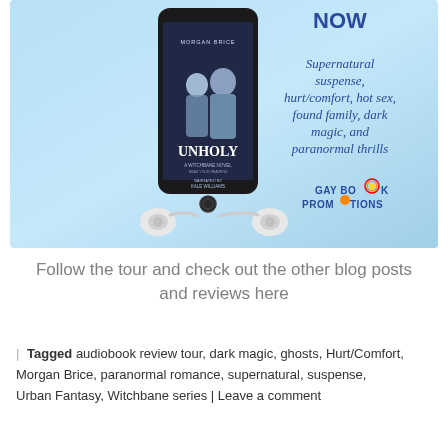[Figure (illustration): Promotional banner for 'Unholy' by Morgan Brice audiobook. Light blue gradient background. Left side shows a smartphone displaying the audiobook cover with two men and the title UNHOLY, A Witchbane Novel, narrated by Kale Williams, with earbuds below. Right side shows text: NOW (partially cut off at top), Supernatural suspense, hurt/comfort, hot sex, found family, dark magic, and paranormal thrills, and Gay Book Promotions logo.]
Follow the tour and check out the other blog posts and reviews here
| Tagged audiobook review tour, dark magic, ghosts, Hurt/Comfort, Morgan Brice, paranormal romance, supernatural, suspense, Urban Fantasy, Witchbane series | Leave a comment